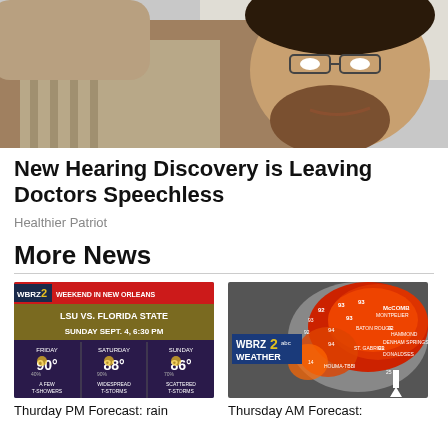[Figure (photo): Close-up photo of a man's face and upper body, wearing a striped shirt, looking sideways]
New Hearing Discovery is Leaving Doctors Speechless
Healthier Patriot
More News
[Figure (screenshot): WBRZ 2 weekend in New Orleans weather graphic showing LSU vs. Florida State Sunday Sept. 4 6:30 PM. Friday 90 degrees a few t-showers, Saturday 88 degrees widespread t-storms, Sunday 86 degrees scattered t-storms]
Thurday PM Forecast: rain
[Figure (screenshot): WBRZ 2 Weather map showing temperature readings across Louisiana region with red heat colors]
Thursday AM Forecast: